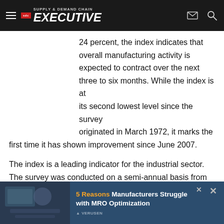Supply & Demand Chain Executive
24 percent, the index indicates that overall manufacturing activity is expected to contract over the next three to six months. While the index is at its second lowest level since the survey originated in March 1972, it marks the first time it has shown improvement since June 2007.
The index is a leading indicator for the industrial sector. The survey was conducted on a semi-annual basis from 1972 to 1991 before being conducted on a quarterly basis in 1991. It should be noted, however, that the index measures the direction of activity in manufacturing.
[Figure (infographic): Advertisement banner: 5 Reasons Manufacturers Struggle with MRO Optimization, by Verusen]